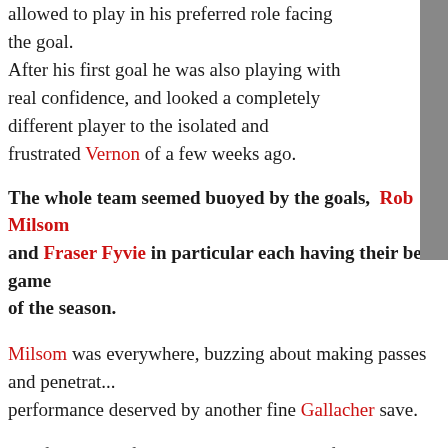allowed to play in his preferred role facing the goal. After his first goal he was also playing with real confidence, and looked a completely different player to the isolated and frustrated Vernon of a few weeks ago.
The whole team seemed buoyed by the goals, Rob Milsom and Fraser Fyvie in particular each having their best game of the season.
Milsom was everywhere, buzzing about making passes and penetrating runs. His performance deserved by another fine Gallacher save.
The foundation for the win was in the midfield – Kari Arnason and Isa... winning every ball in the air and on the deck, giving Milsom and Fyvie... create. Dunfermline actually started the game with a five-man midfield... that holding midfielder Andy Dowie was substituted in the first half.
On the rare occasion that the ball made it past the midfield, Andy Co...